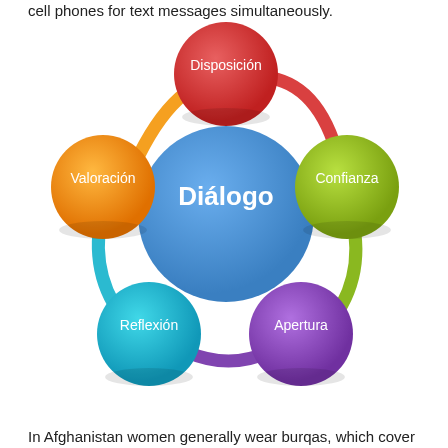cell phones for text messages simultaneously.
[Figure (infographic): Circular diagram with five colored circles connected by arcs around a central blue circle labeled 'Diálogo'. The five surrounding circles are: Disposición (red, top), Confianza (green, right), Apertura (purple, bottom-right), Reflexión (teal, bottom-left), Valoración (orange, left). Arcs connecting them are colored: orange (left-top), red (top-right), green (right), purple (bottom), teal (bottom-left).]
In Afghanistan women generally wear burqas, which cover